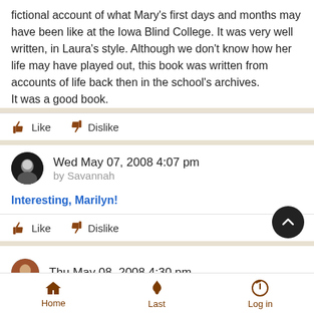fictional account of what Mary's first days and months may have been like at the Iowa Blind College. It was very well written, in Laura's style. Although we don't know how her life may have played out, this book was written from accounts of life back then in the school's archives.
It was a good book.
Like   Dislike
Wed May 07, 2008 4:07 pm
by Savannah
Interesting, Marilyn!
Like   Dislike
Thu May 08, 2008 4:30 pm
Home   Last   Log in